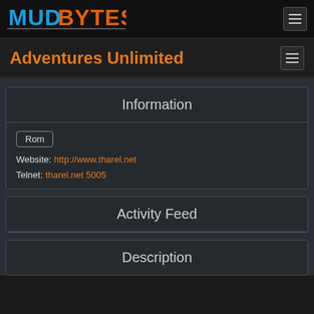[Figure (logo): MudBytes logo in blue and orange lettering on dark background]
Adventures Unlimited
Information
Rom
Website: http://www.tharel.net
Telnet: tharel.net 5005
Activity Feed
Description